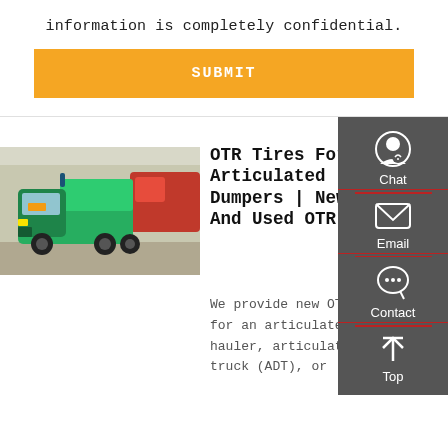information is completely confidential.
SUBMIT
[Figure (photo): Green articulated dump truck on display at an exhibition, with a red truck visible in the background]
OTR Tires For Articulated Dumpers | New And Used OTR ...
We provide new OTR tires for an articulated hauler, articulated dump truck (ADT), or